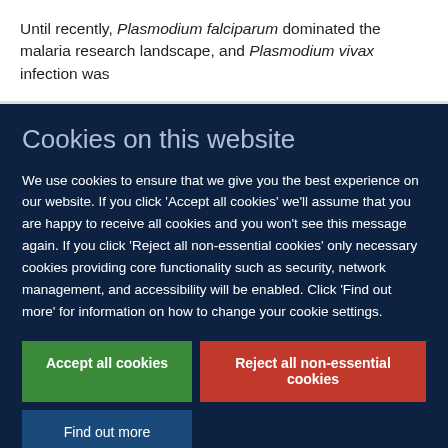Until recently, Plasmodium falciparum dominated the malaria research landscape, and Plasmodium vivax infection was
Cookies on this website
We use cookies to ensure that we give you the best experience on our website. If you click 'Accept all cookies' we'll assume that you are happy to receive all cookies and you won't see this message again. If you click 'Reject all non-essential cookies' only necessary cookies providing core functionality such as security, network management, and accessibility will be enabled. Click 'Find out more' for information on how to change your cookie settings.
Accept all cookies
Reject all non-essential cookies
Find out more